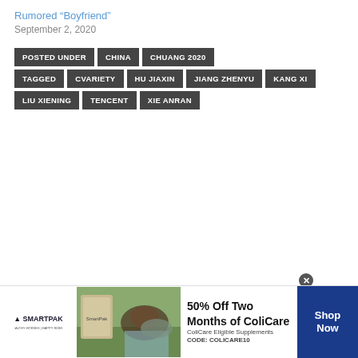Rumored “Boyfriend”
September 2, 2020
POSTED UNDER   CHINA   CHUANG 2020
TAGGED   CVARIETY   HU JIAXIN   JIANG ZHENYU   KANG XI
LIU XIENING   TENCENT   XIE ANRAN
[Figure (other): SmartPak advertisement banner: 50% Off Two Months of ColiCare, ColiCare Eligible Supplements, CODE: COLICARE10. Shows SmartPak logo with horse, product image, woman with horse, and Shop Now button.]